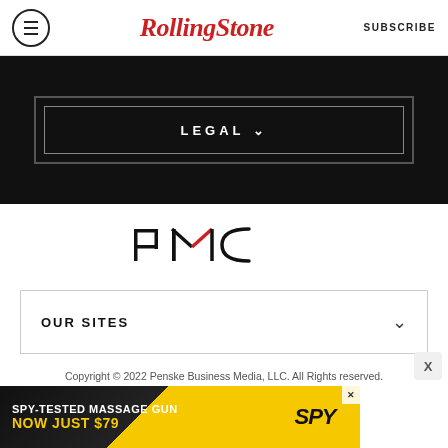Rolling Stone | SUBSCRIBE
[Figure (other): Black panel with 'LEGAL' dropdown button with double border frame]
[Figure (logo): PMC (Penske Media Corporation) logo with red accent on M]
OUR SITES
Copyright © 2022 Penske Business Media, LLC. All Rights Reserved. Powered by WordPress.com VIP
[Figure (other): Advertisement banner: SPY-TESTED MASSAGE GUN NOW JUST $79 with SPY logo]